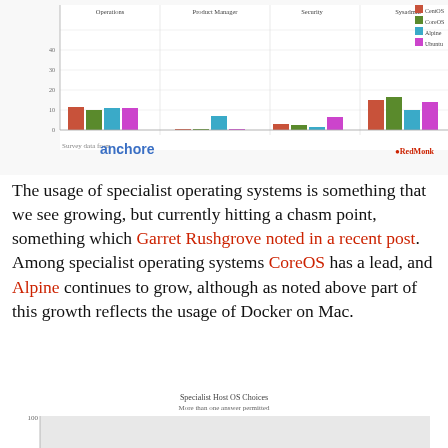[Figure (grouped-bar-chart): Grouped bar chart showing OS usage (CentOS, CoreOS, Alpine, Ubuntu) across Operations, Product Manager, Security, and Sysadmin roles. Anchore / RedMonk branding.]
The usage of specialist operating systems is something that we see growing, but currently hitting a chasm point, something which Garret Rushgrove noted in a recent post. Among specialist operating systems CoreOS has a lead, and Alpine continues to grow, although as noted above part of this growth reflects the usage of Docker on Mac.
[Figure (bar-chart): Partial bar chart visible at bottom of page showing Specialist Host OS Choices with y-axis starting at 100.]